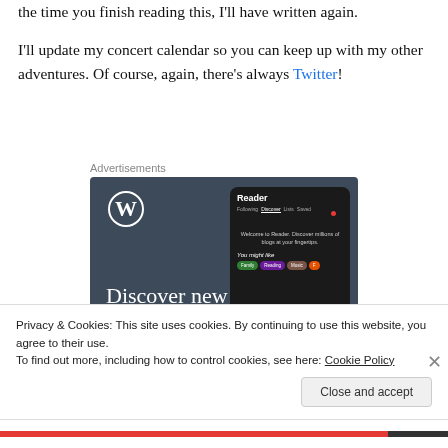the time you finish reading this, I'll have written again.
I'll update my concert calendar so you can keep up with my other adventures. Of course, again, there's always Twitter!
[Figure (screenshot): WordPress advertisement showing 'Discover new reads on the go' with the WordPress logo and a Reader interface mockup on dark background.]
Privacy & Cookies: This site uses cookies. By continuing to use this website, you agree to their use.
To find out more, including how to control cookies, see here: Cookie Policy
Close and accept